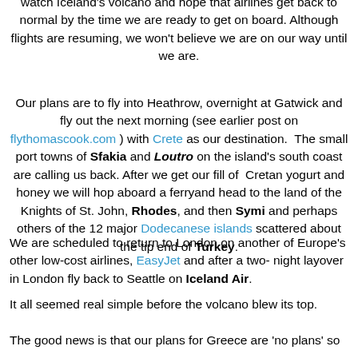watch Iceland's volcano and hope that airlines get back to normal by the time we are ready to get on board. Although flights are resuming, we won't believe we are on our way until we are.
Our plans are to fly into Heathrow, overnight at Gatwick and fly out the next morning (see earlier post on flythomascook.com ) with Crete as our destination. The small port towns of Sfakia and Loutro on the island's south coast are calling us back. After we get our fill of Cretan yogurt and honey we will hop aboard a ferryand head to the land of the Knights of St. John, Rhodes, and then Symi and perhaps others of the 12 major Dodecanese islands scattered about the tip end of Turkey.
We are scheduled to return to London on another of Europe's other low-cost airlines, EasyJet and after a two-night layover in London fly back to Seattle on Iceland Air.
It all seemed real simple before the volcano blew its top.
The good news is that our plans for Greece are 'no plans' so